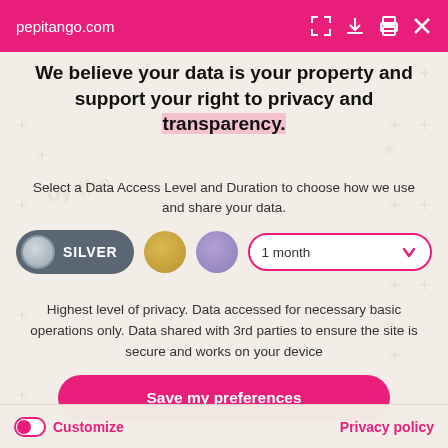pepitango.com
We believe your data is your property and support your right to privacy and transparency.
Select a Data Access Level and Duration to choose how we use and share your data.
[Figure (infographic): Privacy level selector with SILVER button (dark grey pill with grey circle), gold circle, purple circle, and 1 month dropdown selector]
Highest level of privacy. Data accessed for necessary basic operations only. Data shared with 3rd parties to ensure the site is secure and works on your device
[Figure (infographic): Save my preferences pink rounded button]
Customize    Privacy policy